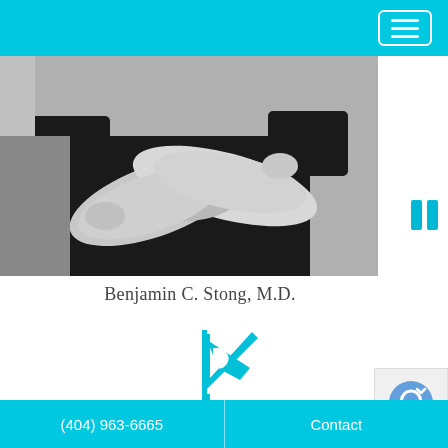[Figure (photo): Black and white photo of a doctor (Benjamin C. Stong, M.D.) with arms crossed, wearing dark scrubs, cropped at chest level]
Benjamin C. Stong, M.D.
[Figure (logo): Kalos Facial Plastic Surgery logo — a cyan stylized 'K' with a face profile, and the text KALOS below in cyan letters]
(404) 963-6665   Contact